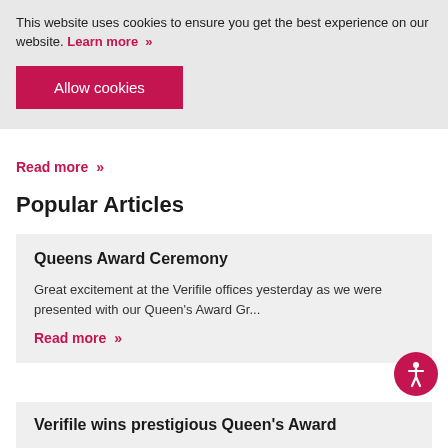This website uses cookies to ensure you get the best experience on our website. Learn more »
Allow cookies
Read more »
Popular Articles
Queens Award Ceremony
Great excitement at the Verifile offices yesterday as we were presented with our Queen's Award Gr...
Read more »
Verifile wins prestigious Queen's Award